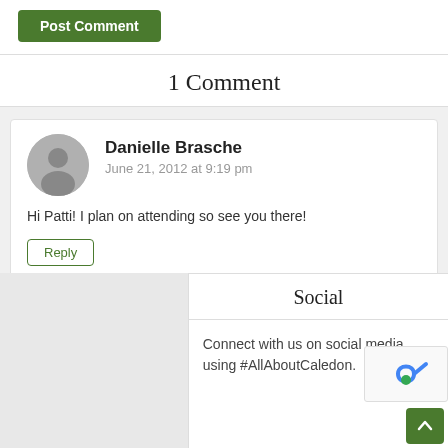[Figure (other): Green Post Comment button at top of page]
1 Comment
[Figure (other): Comment by Danielle Brasche with avatar, date June 21, 2012 at 9:19 pm, comment text and Reply button]
Hi Patti! I plan on attending so see you there!
Social
Connect with us on social media using #AllAboutCaledon.